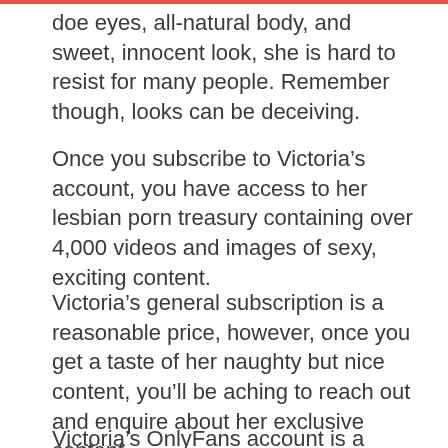doe eyes, all-natural body, and sweet, innocent look, she is hard to resist for many people. Remember though, looks can be deceiving.
Once you subscribe to Victoria’s account, you have access to her lesbian porn treasury containing over 4,000 videos and images of sexy, exciting content.
Victoria’s general subscription is a reasonable price, however, once you get a taste of her naughty but nice content, you’ll be aching to reach out and enquire about her exclusive content.
Victoria’s OnlyFans account is a great